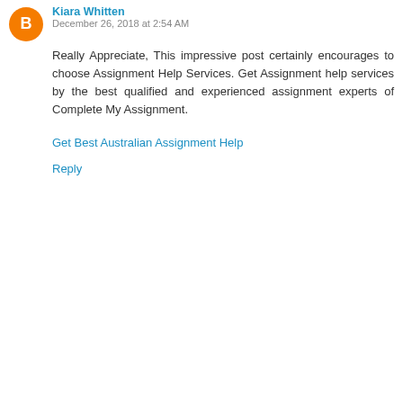Kiara Whitten · December 26, 2018 at 2:54 AM
Really Appreciate, This impressive post certainly encourages to choose Assignment Help Services. Get Assignment help services by the best qualified and experienced assignment experts of Complete My Assignment.
Get Best Australian Assignment Help
Reply